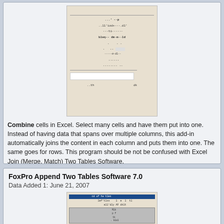[Figure (screenshot): Screenshot of Excel cell combining software interface]
Combine cells in Excel. Select many cells and have them put into one. Instead of having data that spans over multiple columns, this add-in automatically joins the content in each column and puts them into one. The same goes for rows. This program should be not be confused with Excel Join (Merge, Match) Two Tables Software.
Size: 413.6 KB License: Shareware Price: $19.82
Keywords: Across - Adding - Aggregate - Blank - Book - Cells - Cols - Columns - Combining - Concatenate
[Figure (screenshot): Download button]
FoxPro Append Two Tables Software 7.0
Data Added 1: June 21, 2007
[Figure (screenshot): Screenshot of FoxPro Append Two Tables Software interface]